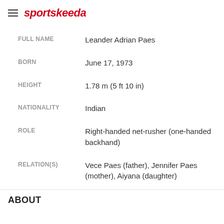sportskeeda
| Field | Value |
| --- | --- |
| FULL NAME | Leander Adrian Paes |
| BORN | June 17, 1973 |
| HEIGHT | 1.78 m (5 ft 10 in) |
| NATIONALITY | Indian |
| ROLE | Right-handed net-rusher (one-handed backhand) |
| RELATION(S) | Vece Paes (father), Jennifer Paes (mother), Aiyana (daughter) |
ABOUT